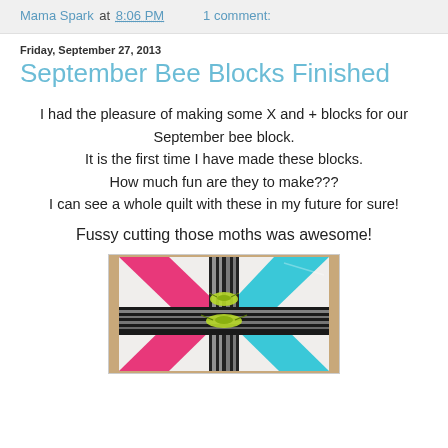Mama Spark at 8:06 PM   1 comment:
Friday, September 27, 2013
September Bee Blocks Finished
I had the pleasure of making some X and + blocks for our September bee block.
It is the first time I have made these blocks.
How much fun are they to make???
I can see a whole quilt with these in my future for sure!
Fussy cutting those moths was awesome!
[Figure (photo): A quilt block featuring X and + pattern with hot pink, cyan/teal, black and white zebra print fabrics, with moth fabric pieces in yellow-green visible in the center.]